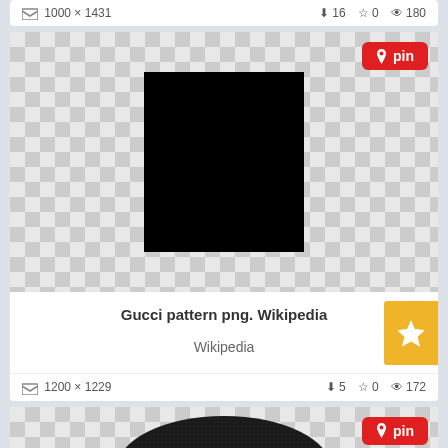1000 × 1431   ⬇16  ☆0  👁 180
[Figure (screenshot): Card showing a black square image centered on a checkerboard transparency background, with a red 'pin' button in the top right corner. Title: 'Gucci pattern png. Wikipedia', source: 'Wikipedia', with a yellow star button on the right side.]
Gucci pattern png. Wikipedia
Wikipedia
1200 × 1229   ⬇5  ☆0  👁 172
[Figure (screenshot): Card showing a Gucci oval logo on dark background, centered on a checkerboard transparency background, with a red 'pin' button in the top right corner.]